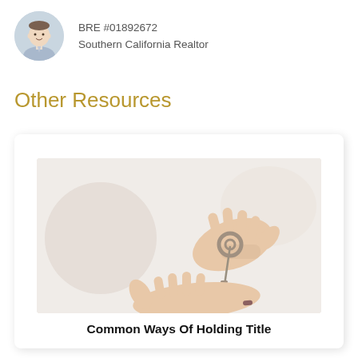[Figure (photo): Circular headshot of a young man in a light blue suit and tie, smiling, with greenery in the background]
BRE #01892672
Southern California Realtor
Other Resources
[Figure (photo): Photo of one hand holding out house keys from above while another hand waits below to receive them, on a light background]
Common Ways Of Holding Title